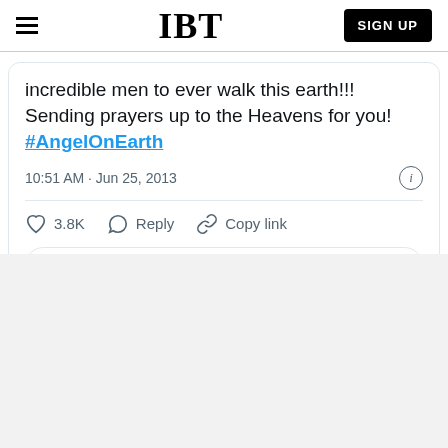IBT — SIGN UP
incredible men to ever walk this earth!!! Sending prayers up to the Heavens for you! #AngelOnEarth
10:51 AM · Jun 25, 2013
♡ 3.8K   Reply   Copy link
Read 700+ replies